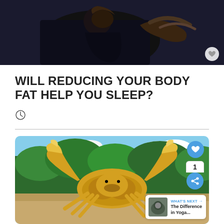[Figure (photo): Close-up of person on a bicycle, dark clothing, blurred background]
WILL REDUCING YOUR BODY FAT HELP YOU SLEEP?
[Figure (photo): Yellow/orange crab with claws raised, photographed outdoors on sandy ground with green trees and blue sky behind]
WHAT'S NEXT → The Difference in Yoga...